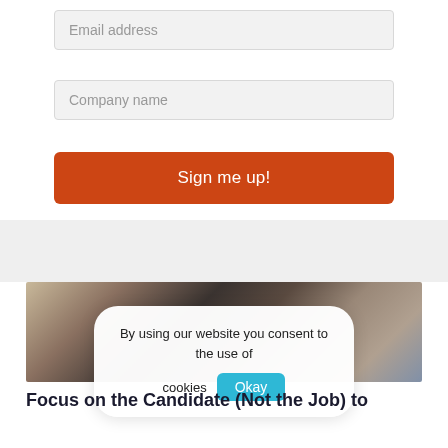Email address
Company name
Sign me up!
[Figure (photo): A smiling woman with curly hair sitting at a laptop, with another person visible in the background on a couch]
By using our website you consent to the use of cookies Okay
Focus on the Candidate (Not the Job) to